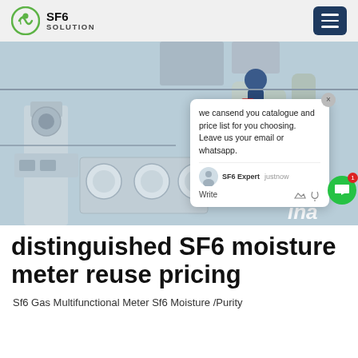SF6 SOLUTION
[Figure (photo): Industrial SF6 gas equipment with pipes and gauges, technician visible in background working on large industrial switchgear installation. A chat popup overlay is visible with text 'we can send you catalogue and price list for you choosing. Leave us your email or whatsapp.' showing SF6 Expert and justnow timestamp, with Write field.]
distinguished SF6 moisture meter reuse pricing
Sf6 Gas Multifunctional Meter Sf6 Moisture /Purity